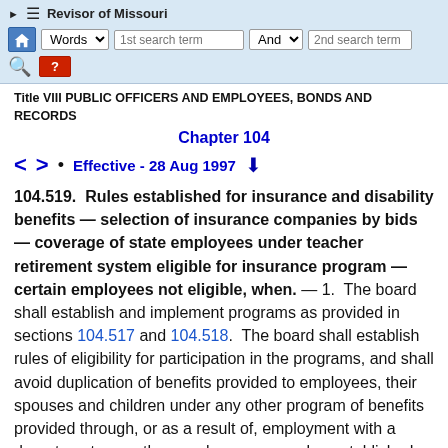Revisor of Missouri — navigation bar with search fields
Title VIII PUBLIC OFFICERS AND EMPLOYEES, BONDS AND RECORDS
Chapter 104
< > • Effective - 28 Aug 1997 ↓
104.519. Rules established for insurance and disability benefits — selection of insurance companies by bids — coverage of state employees under teacher retirement system eligible for insurance program — certain employees not eligible, when. — 1. The board shall establish and implement programs as provided in sections 104.517 and 104.518. The board shall establish rules of eligibility for participation in the programs, and shall avoid duplication of benefits provided to employees, their spouses and children under any other program of benefits provided through, or as a result of, employment with a department, any other employer, or any plan established by the federal government. The benefits set